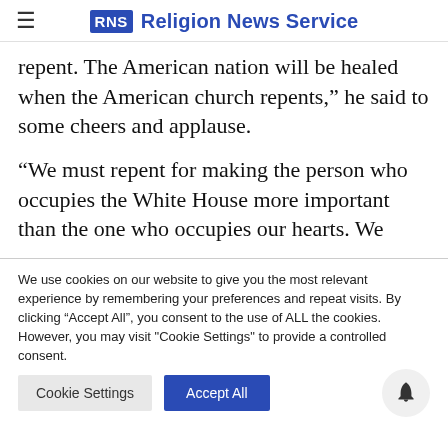RNS Religion News Service
repent. The American nation will be healed when the American church repents,” he said to some cheers and applause.
“We must repent for making the person who occupies the White House more important than the one who occupies our hearts. We
We use cookies on our website to give you the most relevant experience by remembering your preferences and repeat visits. By clicking “Accept All”, you consent to the use of ALL the cookies. However, you may visit "Cookie Settings" to provide a controlled consent.
Cookie Settings | Accept All